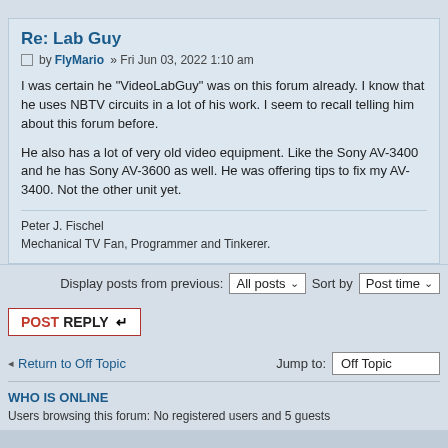Re: Lab Guy
by FlyMario » Fri Jun 03, 2022 1:10 am
I was certain he "VideoLabGuy" was on this forum already. I know that he uses NBTV circuits in a lot of his work. I seem to recall telling him about this forum before.
He also has a lot of very old video equipment. Like the Sony AV-3400 and he has Sony AV-3600 as well. He was offering tips to fix my AV-3400. Not the other unit yet.
Peter J. Fischel
Mechanical TV Fan, Programmer and Tinkerer.
Display posts from previous: All posts  Sort by  Post time
POSTREPLY
Return to Off Topic
Jump to: Off Topic
WHO IS ONLINE
Users browsing this forum: No registered users and 5 guests